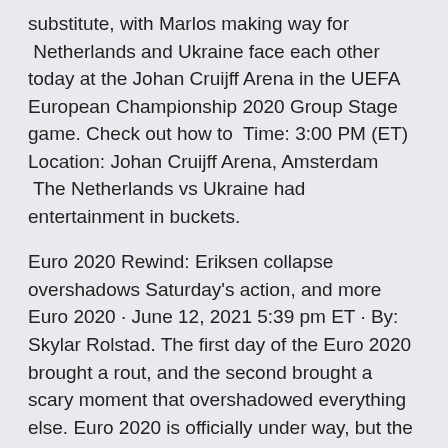substitute, with Marlos making way for  Netherlands and Ukraine face each other today at the Johan Cruijff Arena in the UEFA European Championship 2020 Group Stage game. Check out how to  Time: 3:00 PM (ET) Location: Johan Cruijff Arena, Amsterdam  The Netherlands vs Ukraine had entertainment in buckets.
Euro 2020 Rewind: Eriksen collapse overshadows Saturday's action, and more Euro 2020 · June 12, 2021 5:39 pm ET · By: Skylar Rolstad. The first day of the Euro 2020 brought a rout, and the second brought a scary moment that overshadowed everything else. Euro 2020 is officially under way, but the biggest talking point after the first (...) MATCH INFO - Netherlands vs Ukraine Highlights Start date: 20:00 Location: Amsterdam Venue: Johan Cruijff Arena Referee: Felix Brych. UEFA EURO 2020 was postponed in March